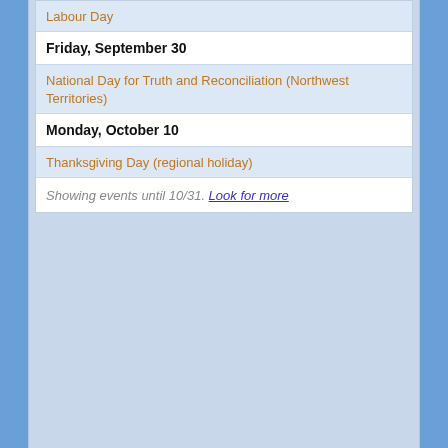Labour Day
Friday, September 30
National Day for Truth and Reconciliation (Northwest Territories)
Monday, October 10
Thanksgiving Day (regional holiday)
Showing events until 10/31. Look for more